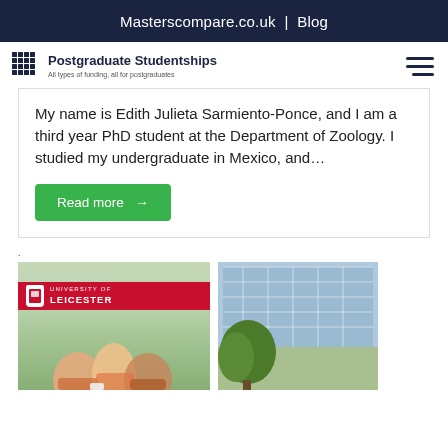Masterscompare.co.uk  |  Blog
[Figure (logo): Postgraduate Studentships logo with grid icon and tagline 'All types of funding, all for postgraduates']
My name is Edith Julieta Sarmiento-Ponce, and I am a third year PhD student at the Department of Zoology. I studied my undergraduate in Mexico, and...
Read more →
.
[Figure (photo): University of Leicester promotional image showing students with laptops outdoors]
[Figure (photo): Building exterior with glass facade and green tree in foreground]